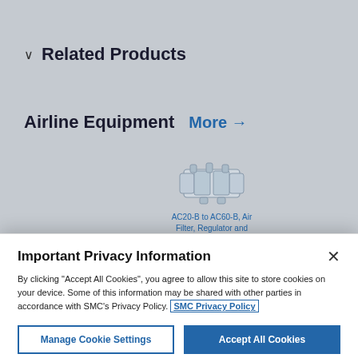Related Products
Airline Equipment  More →
[Figure (photo): Product image of AC20-B to AC60-B Air Filter, Regulator and Lubricator]
AC20-B to AC60-B, Air Filter, Regulator and
Important Privacy Information
By clicking "Accept All Cookies", you agree to allow this site to store cookies on your device. Some of this information may be shared with other parties in accordance with SMC's Privacy Policy. SMC Privacy Policy
Manage Cookie Settings
Accept All Cookies